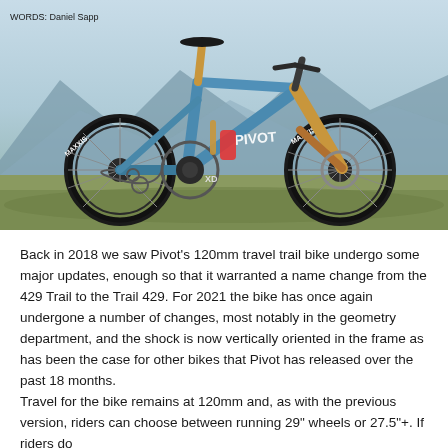[Figure (photo): A blue Pivot Trail 429 full-suspension mountain bike photographed outdoors on a grassy hillside with mountain scenery in the background. The bike has Maxxis tires, gold fork, and XD drivetrain. Photo credit: Words: Daniel Sapp]
Back in 2018 we saw Pivot's 120mm travel trail bike undergo some major updates, enough so that it warranted a name change from the 429 Trail to the Trail 429. For 2021 the bike has once again undergone a number of changes, most notably in the geometry department, and the shock is now vertically oriented in the frame as has been the case for other bikes that Pivot has released over the past 18 months.
Travel for the bike remains at 120mm and, as with the previous version, riders can choose between running 29" wheels or 27.5"+. If riders do